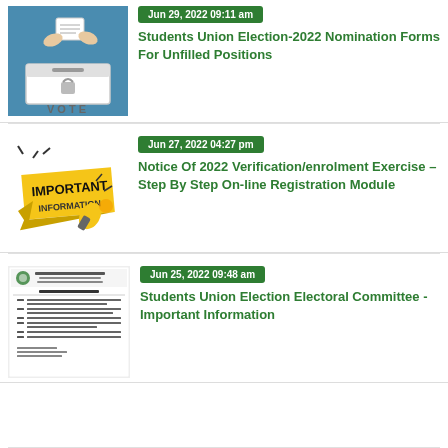[Figure (illustration): Hands placing a ballot into a vote box, blue background with VOTE text]
Jun 29, 2022 09:11 am
Students Union Election-2022 Nomination Forms For Unfilled Positions
[Figure (illustration): Important Information graphic with megaphone and yellow banner]
Jun 27, 2022 04:27 pm
Notice Of 2022 Verification/enrolment Exercise – Step By Step On-line Registration Module
[Figure (screenshot): Yaba College of Technology Students Union Election Electoral Committee - Important Information document]
Jun 25, 2022 09:48 am
Students Union Election Electoral Committee - Important Information